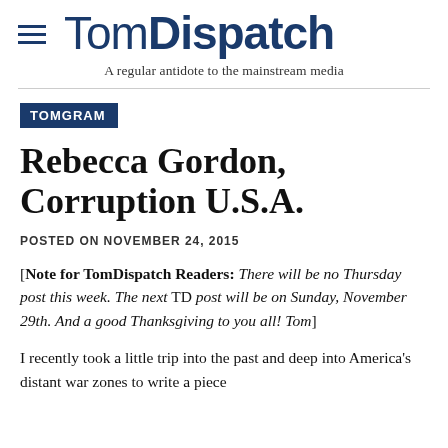TomDispatch — A regular antidote to the mainstream media
TOMGRAM
Rebecca Gordon, Corruption U.S.A.
POSTED ON NOVEMBER 24, 2015
[Note for TomDispatch Readers: There will be no Thursday post this week. The next TD post will be on Sunday, November 29th. And a good Thanksgiving to you all! Tom]
I recently took a little trip into the past and deep into America's distant war zones to write a piece